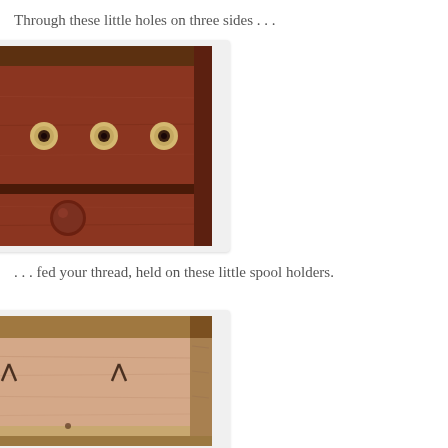Through these little holes on three sides . . .
[Figure (photo): Close-up photo of a wooden box or cabinet front showing four circular metal eyelets/grommets embedded in a reddish-brown wooden surface, with a lower drawer section visible below featuring a round wooden knob.]
. . . fed your thread, held on these little spool holders.
[Figure (photo): Photo of the interior bottom of a wooden box or sewing cabinet, showing light-colored wood with two small metal spool holder pegs/nails visible, and wooden corner joinery visible at the edges.]